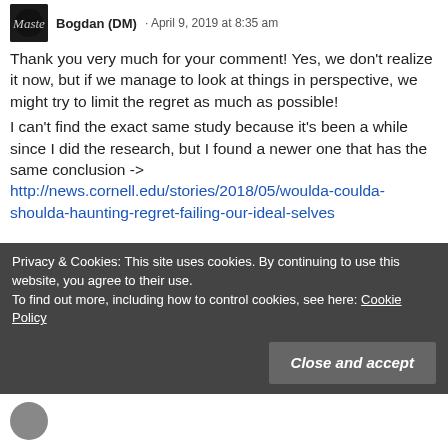[Figure (photo): User avatar thumbnail — dark/black square with cursive logo]
Bogdan (DM) · April 9, 2019 at 8:35 am
Thank you very much for your comment! Yes, we don't realize it now, but if we manage to look at things in perspective, we might try to limit the regret as much as possible!
I can't find the exact same study because it's been a while since I did the research, but I found a newer one that has the same conclusion -> http://news.cornell.edu/stories/2018/05/woulda-coulda-shoulda-haunting-regret-failing-our-ideal-selves
Privacy & Cookies: This site uses cookies. By continuing to use this website, you agree to their use.
To find out more, including how to control cookies, see here: Cookie Policy
Close and accept